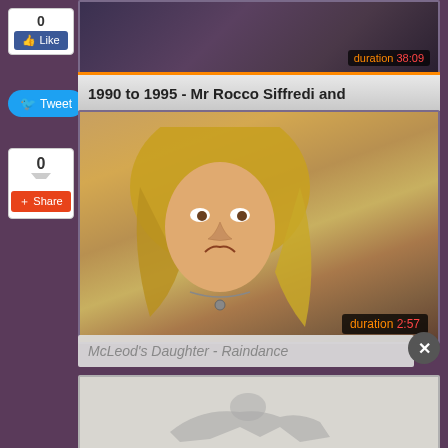[Figure (screenshot): Social media Like button showing count 0 with blue Facebook-style Like button]
[Figure (screenshot): Blue Twitter Tweet button]
[Figure (screenshot): Share button showing count 0 with red Share button]
[Figure (screenshot): Top video thumbnail partially visible with duration badge showing 38:09]
1990 to 1995 - Mr Rocco Siffredi and
[Figure (screenshot): Main video thumbnail showing blonde woman, duration badge showing 2:57]
McLeod's Daughter - Raindance
[Figure (screenshot): Bottom partially visible video thumbnail]